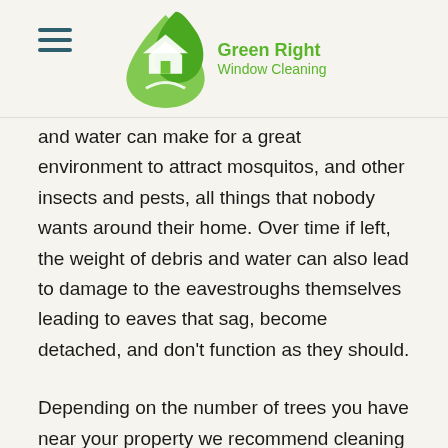Green Right Window Cleaning
and water can make for a great environment to attract mosquitos, and other insects and pests, all things that nobody wants around their home. Over time if left, the weight of debris and water can also lead to damage to the eavestroughs themselves leading to eaves that sag, become detached, and don't function as they should.
Depending on the number of trees you have near your property we recommend cleaning out your eavestroughs one to two times annually ideally in the spring before the heavy rain and in the fall as the trees shed all their leaves.